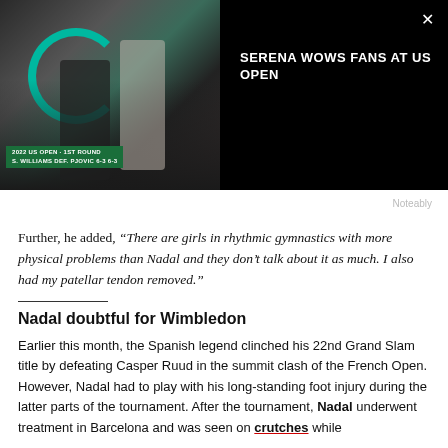[Figure (screenshot): Video banner showing tennis players at 2022 US Open 1st Round with scoreboard overlay, black background with headline text on right side and close button]
SERENA WOWS FANS AT US OPEN
Noteably
Further, he added, “There are girls in rhythmic gymnastics with more physical problems than Nadal and they don’t talk about it as much. I also had my patellar tendon removed.”
Nadal doubtful for Wimbledon
Earlier this month, the Spanish legend clinched his 22nd Grand Slam title by defeating Casper Ruud in the summit clash of the French Open. However, Nadal had to play with his long-standing foot injury during the latter parts of the tournament. After the tournament, Nadal underwent treatment in Barcelona and was seen on crutches while